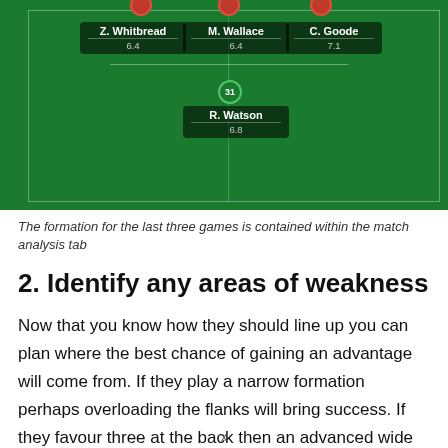[Figure (illustration): Soccer/football tactical formation diagram on a green pitch showing players Z. Whitbread (6.4), M. Wallace (6.4), C. Goode (7.1) in a defensive line, and R. Watson (6.8) in midfield with jersey number 31. Red circle markers are partially visible at the top.]
The formation for the last three games is contained within the match analysis tab
2. Identify any areas of weakness
Now that you know how they should line up you can plan where the best chance of gaining an advantage will come from. If they play a narrow formation perhaps overloading the flanks will bring success. If they favour three at the back then an advanced wide man may be the way to go. The bottom right of the report details which tactic has caused the opposition most problems during